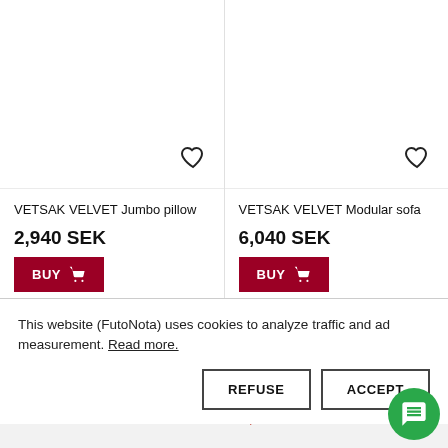[Figure (screenshot): Product image area for VETSAK VELVET Jumbo pillow with heart/favorite icon]
[Figure (screenshot): Product image area for VETSAK VELVET Modular sofa with heart/favorite icon]
VETSAK VELVET Jumbo pillow
2,940 SEK
VETSAK VELVET Modular sofa
6,040 SEK
This website (FutoNota) uses cookies to analyze traffic and ad measurement. Read more.
Back to top
[Figure (illustration): Green circular chat support button at bottom right]